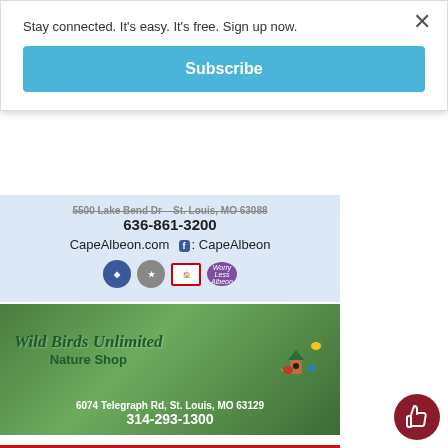Stay connected. It's easy. It's free. Sign up now.
×
Subscribe
[Figure (infographic): Cape Albeon advertisement showing address 5500 Lake Bend Dr, St. Louis, MO 63088, phone 636-861-3200, website CapeAlbeon.com, Facebook: CapeAlbeon, with certification icons]
[Figure (infographic): Wild Birds Unlimited Nature Shop advertisement. Address: 6074 Telegraph Rd, St. Louis, MO 63129. Phone: 314-293-1300. Green leafy background with birdhouse logo.]
[Figure (infographic): Clark Floor Co. advertisement on red background. HRS: M-W-F 9:00-7:30, Tues. & Thurs. 9:00-5:00, Sat. 9:00 to 3:00. Family owned and operated for Over 35 years. 7525 S. Lindbergh • 314-487-0151]